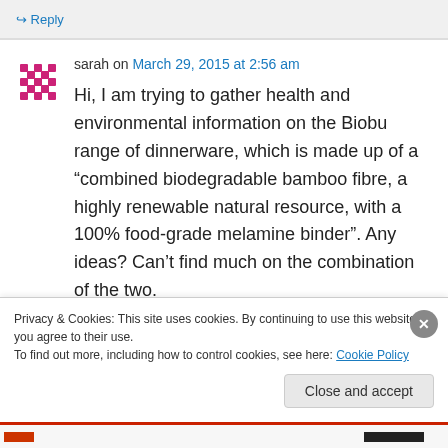↳ Reply
sarah on March 29, 2015 at 2:56 am
Hi, I am trying to gather health and environmental information on the Biobu range of dinnerware, which is made up of a "combined biodegradable bamboo fibre, a highly renewable natural resource, with a 100% food-grade melamine binder". Any ideas? Can't find much on the combination of the two.
Privacy & Cookies: This site uses cookies. By continuing to use this website, you agree to their use.
To find out more, including how to control cookies, see here: Cookie Policy
Close and accept